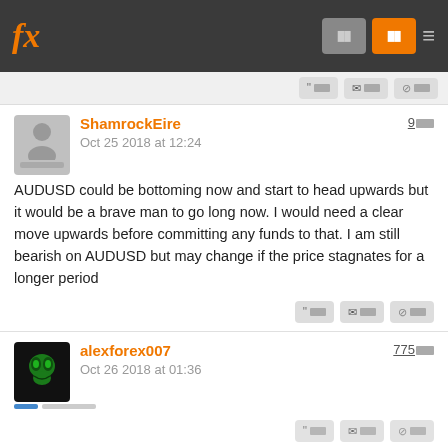fx [nav buttons]
ShamrockEire
Oct 25 2018 at 12:24
9[rep]
AUDUSD could be bottoming now and start to head upwards but it would be a brave man to go long now. I would need a clear move upwards before committing any funds to that. I am still bearish on AUDUSD but may change if the price stagnates for a longer period
alexforex007
Oct 26 2018 at 01:36
775[rep]
Indeed, the AUDUSD has lost its bearish momentum, but the downtrend is still in place in daiy chart. As long as the pair stays below the 55 day EMA, it could still drop some more. To the downside, the 0.7000 level could act as support. Above the 0.7100 level, the 0.7200 could act as resistance.